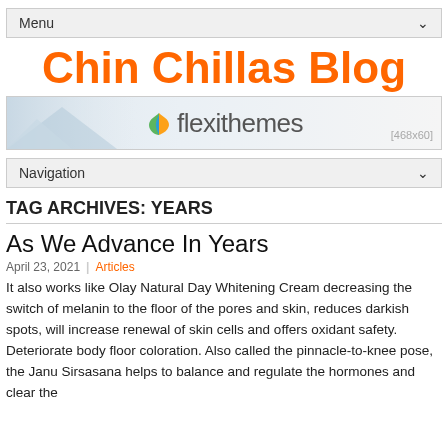Menu
Chin Chillas Blog
[Figure (screenshot): Flexithemes banner advertisement placeholder showing mountains silhouette on left, colorful leaf/wing icon and 'flexithemes' text logo in center, [468x60] size label at bottom right.]
Navigation
TAG ARCHIVES: YEARS
As We Advance In Years
April 23, 2021 | Articles
It also works like Olay Natural Day Whitening Cream decreasing the switch of melanin to the floor of the pores and skin, reduces darkish spots, will increase renewal of skin cells and offers oxidant safety. Deteriorate body floor coloration. Also called the pinnacle-to-knee pose, the Janu Sirsasana helps to balance and regulate the hormones and clear the